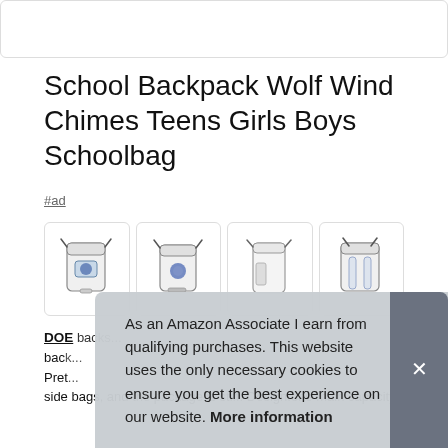[Figure (photo): Top portion of product image, cropped at top of page]
School Backpack Wolf Wind Chimes Teens Girls Boys Schoolbag
#ad
[Figure (photo): Four thumbnail images of the backpack from different angles]
DOE... back... Pret... side bags, and the package is stiff. Design:one main capacity
As an Amazon Associate I earn from qualifying purchases. This website uses the only necessary cookies to ensure you get the best experience on our website. More information